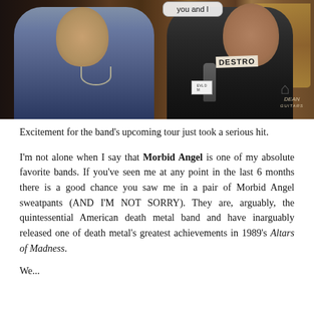[Figure (photo): Two men at what appears to be a music gear convention or trade show. The man on the left wears a denim vest and has a chain necklace. The man on the right wears a leather vest with a 'DESTROY' patch and holds a microphone, wearing a badge lanyard. A speech bubble in the upper area reads 'you and I'. Dean Guitars signage is visible in the background along with guitar displays.]
Excitement for the band's upcoming tour just took a serious hit.
I'm not alone when I say that Morbid Angel is one of my absolute favorite bands. If you've seen me at any point in the last 6 months there is a good chance you saw me in a pair of Morbid Angel sweatpants (AND I'M NOT SORRY). They are, arguably, the quintessential American death metal band and have inarguably released one of death metal's greatest achievements in 1989's Altars of Madness.
We...